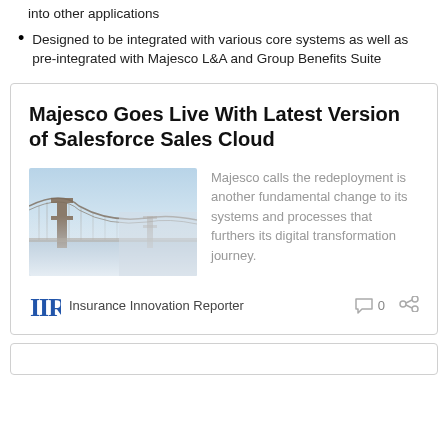into other applications
Designed to be integrated with various core systems as well as pre-integrated with Majesco L&A and Group Benefits Suite
Majesco Goes Live With Latest Version of Salesforce Sales Cloud
[Figure (photo): Photo of the Golden Gate Bridge in fog, misty blue-grey tones]
Majesco calls the redeployment is another fundamental change to its systems and processes that furthers its digital transformation journey.
IIR  Insurance Innovation Reporter  0